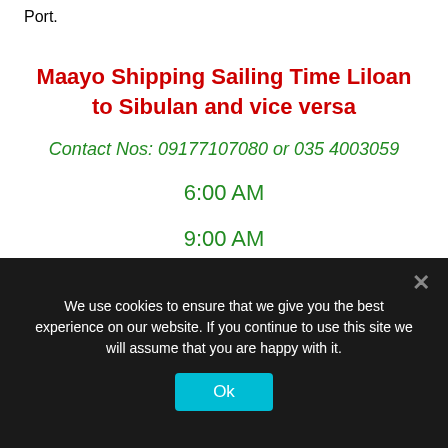Port.
Maayo Shipping Sailing Time Liloan to Sibulan and vice versa
Contact Nos: 09177107080 or 035 4003059
6:00 AM
9:00 AM
We use cookies to ensure that we give you the best experience on our website. If you continue to use this site we will assume that you are happy with it.